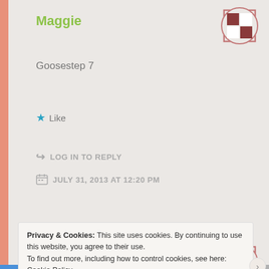Maggie
Goosestep 7
★ Like
↪ LOG IN TO REPLY
JULY 31, 2013 AT 12:20 PM
Maggie
Privacy & Cookies: This site uses cookies. By continuing to use this website, you agree to their use.
To find out more, including how to control cookies, see here: Cookie Policy
Close and accept